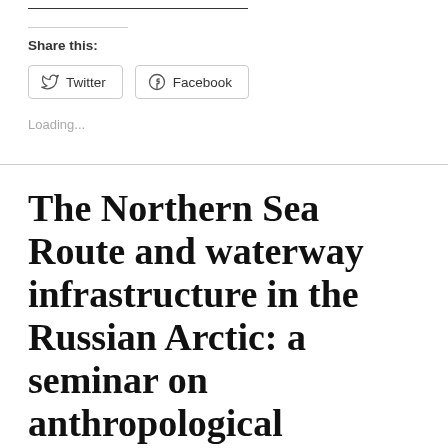Share this:
Twitter
Facebook
Loading...
The Northern Sea Route and waterway infrastructure in the Russian Arctic: a seminar on anthropological perspectives